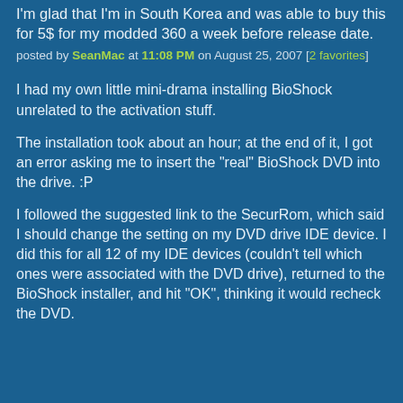I'm glad that I'm in South Korea and was able to buy this for 5$ for my modded 360 a week before release date.
posted by SeanMac at 11:08 PM on August 25, 2007 [2 favorites]
I had my own little mini-drama installing BioShock unrelated to the activation stuff.
The installation took about an hour; at the end of it, I got an error asking me to insert the "real" BioShock DVD into the drive. :P
I followed the suggested link to the SecurRom, which said I should change the setting on my DVD drive IDE device. I did this for all 12 of my IDE devices (couldn't tell which ones were associated with the DVD drive), returned to the BioShock installer, and hit "OK", thinking it would recheck the DVD.